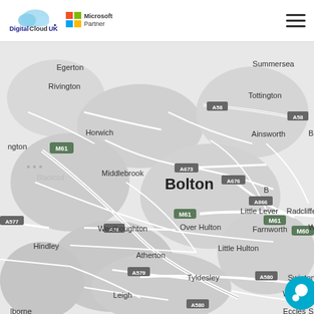[Figure (logo): DigitalCloudUK logo with Microsoft Partner badge]
[Figure (map): Greyscale map of Bolton and surrounding areas in Greater Manchester, UK, showing roads M61, A58, A673, A676, A866, A577, A580, A579 and locations including Rivington, Horwich, Blackrod, Middlebrook, Bolton, Little Lever, Radcliffe, Westhoughton, Over Hulton, Farnworth, Hindley, Little Hulton, Atherton, Tyldesley, Worsley, Swinton, Leigh, Eccles, Tottington, Ainsworth, Egerton, Summerseat]